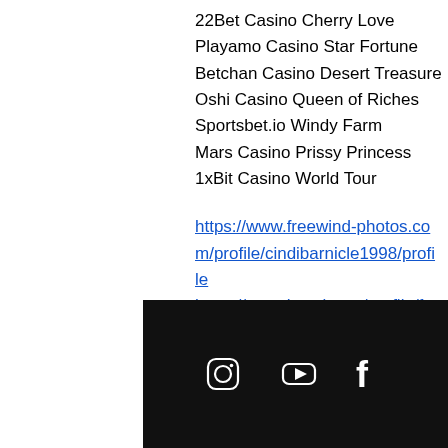22Bet Casino Cherry Love
Playamo Casino Star Fortune
Betchan Casino Desert Treasure
Oshi Casino Queen of Riches
Sportsbet.io Windy Farm
Mars Casino Prissy Princess
1xBit Casino World Tour
https://www.freewind-photos.com/profile/cindibarnicle1998/profile https://www.hussky.art/profile/francescoworkings1985/profile https://www.fablabmostaqbli.org/profile/lucindamcinture1997/profile https://forum.genital-clinic.ru/community/profile/bitz24276829/
[Figure (other): Dark footer bar with social media icons: Instagram, YouTube, Facebook]